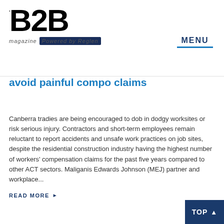B2B magazine Powered by Reglen — MENU
avoid painful compo claims
Canberra tradies are being encouraged to dob in dodgy worksites or risk serious injury. Contractors and short-term employees remain reluctant to report accidents and unsafe work practices on job sites, despite the residential construction industry having the highest number of workers' compensation claims for the past five years compared to other ACT sectors. Maliganis Edwards Johnson (MEJ) partner and workplace...
READ MORE